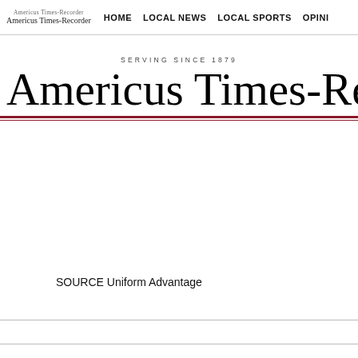Americus Times-Recorder  HOME  LOCAL NEWS  LOCAL SPORTS  OPINI
SERVING SINCE 1879
Americus Times-Recorder
SOURCE Uniform Advantage